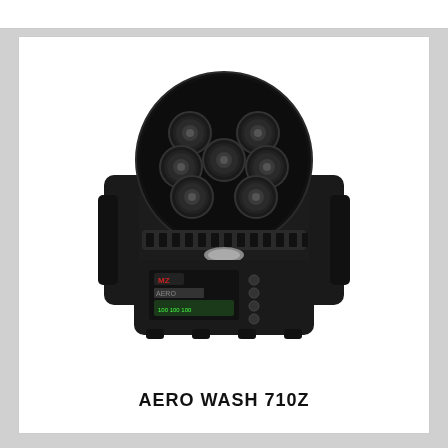[Figure (photo): Front-facing photo of the AERO WASH 710Z moving head LED wash light fixture. The unit is black with a large circular LED head containing 7 large lens elements arranged in a honeycomb pattern, a yoke/arm on each side, and a base unit with an LCD display screen and control buttons labeled MZ and AERO.]
AERO WASH 710Z